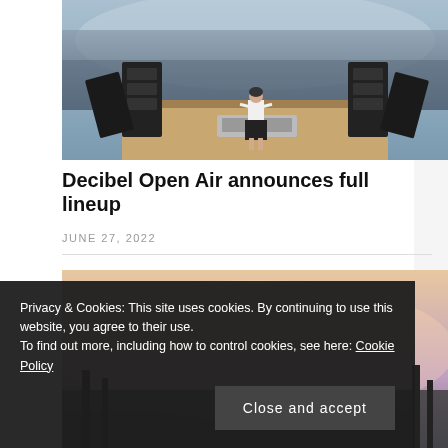[Figure (photo): DJ or performer standing on stage facing a massive crowd at an open-air festival, with speaker stacks on either side]
Decibel Open Air announces full lineup
JUNE 27, 2022
[Figure (photo): Partial view of a second article image — outdoor festival scene with hazy sky]
Privacy & Cookies: This site uses cookies. By continuing to use this website, you agree to their use.
To find out more, including how to control cookies, see here: Cookie Policy
Close and accept